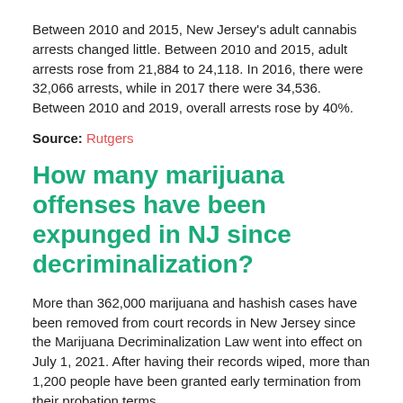Between 2010 and 2015, New Jersey's adult cannabis arrests changed little. Between 2010 and 2015, adult arrests rose from 21,884 to 24,118. In 2016, there were 32,066 arrests, while in 2017 there were 34,536. Between 2010 and 2019, overall arrests rose by 40%.
Source: Rutgers
How many marijuana offenses have been expunged in NJ since decriminalization?
More than 362,000 marijuana and hashish cases have been removed from court records in New Jersey since the Marijuana Decriminalization Law went into effect on July 1, 2021. After having their records wiped, more than 1,200 people have been granted early termination from their probation terms.